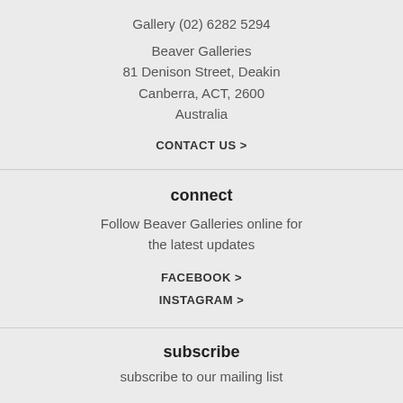Gallery (02) 6282 5294
Beaver Galleries
81 Denison Street, Deakin
Canberra, ACT, 2600
Australia
CONTACT US >
connect
Follow Beaver Galleries online for the latest updates
FACEBOOK >
INSTAGRAM >
subscribe
subscribe to our mailing list
First and last name
Email address